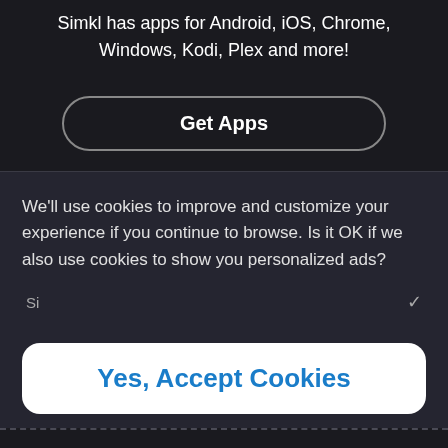Simkl has apps for Android, iOS, Chrome, Windows, Kodi, Plex and more!
[Figure (screenshot): Get Apps button with rounded rectangle border]
We’ll use cookies to improve and customize your experience if you continue to browse. Is it OK if we also use cookies to show you personalized ads?
[Figure (screenshot): Yes, Accept Cookies button in white with blue text]
COMMUNITY
DEVELOPERS